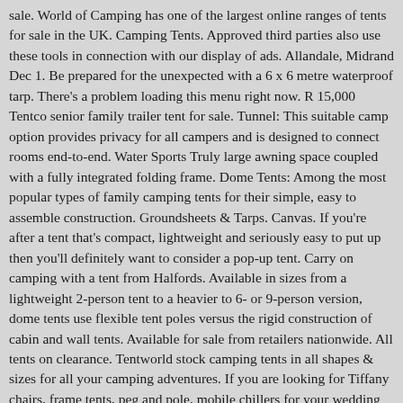sale. World of Camping has one of the largest online ranges of tents for sale in the UK. Camping Tents. Approved third parties also use these tools in connection with our display of ads. Allandale, Midrand Dec 1. Be prepared for the unexpected with a 6 x 6 metre waterproof tarp. There's a problem loading this menu right now. R 15,000 Tentco senior family trailer tent for sale. Tunnel: This suitable camp option provides privacy for all campers and is designed to connect rooms end-to-end. Water Sports Truly large awning space coupled with a fully integrated folding frame. Dome Tents: Among the most popular types of family camping tents for their simple, easy to assemble construction. Groundsheets & Tarps. Canvas. If you're after a tent that's compact, lightweight and seriously easy to put up then you'll definitely want to consider a pop-up tent. Carry on camping with a tent from Halfords. Available in sizes from a lightweight 2-person tent to a heavier to 6- or 9-person version, dome tents use flexible tent poles versus the rigid construction of cabin and wall tents. Available for sale from retailers nationwide. All tents on clearance. Tentworld stock camping tents in all shapes & sizes for all your camping adventures. If you are looking for Tiffany chairs, frame tents, peg and pole, mobile chillers for your wedding or any related events at an affordable price please contact the sales team we got all covered Find a great deal on Tents.